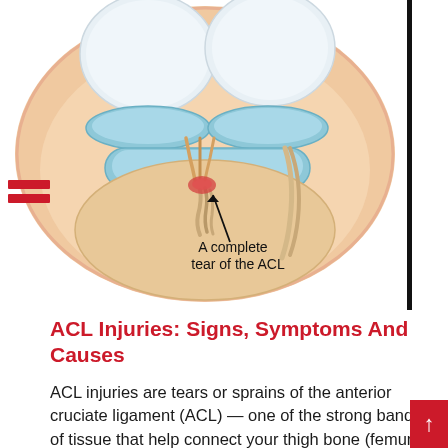[Figure (illustration): Medical illustration of a knee joint cross-section showing a complete tear of the ACL (anterior cruciate ligament). The image shows the femur (thigh bone) at the top, the tibia (shinbone) below, with blue cartilage pads, and a torn ligament in the center. An arrow points to the torn ligament with the label 'A complete tear of the ACL'. A red hamburger menu icon is visible on the left side of the image.]
ACL Injuries: Signs, Symptoms And Causes
ACL injuries are tears or sprains of the anterior cruciate ligament (ACL) — one of the strong bands of tissue that help connect your thigh bone (femur) to your shinbone (tibia). ACL injuries most commonly occur during sports that involve sudden stops or changes in direction, jumping and landing — such